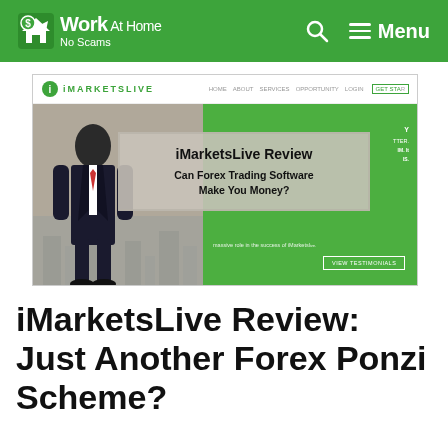Work At Home No Scams — Menu
[Figure (screenshot): Screenshot of iMarketsLive website homepage showing the logo, navigation (HOME, ABOUT, SERVICES, OPPORTUNITY, LOGIN, GET STARTED), a hero section with a man in a suit against a city background and green panel, and an overlay card reading 'iMarketsLive Review — Can Forex Trading Software Make You Money?' with a VIEW TESTIMONIALS button.]
iMarketsLive Review: Just Another Forex Ponzi Scheme?